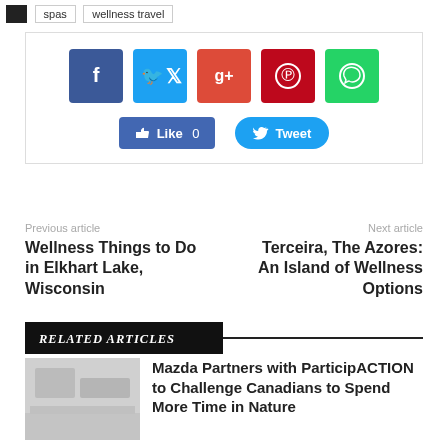spas
wellness travel
[Figure (infographic): Social share box with Facebook, Twitter, Google+, Pinterest, WhatsApp icon buttons and Like 0 and Tweet action buttons]
Previous article
Wellness Things to Do in Elkhart Lake, Wisconsin
Next article
Terceira, The Azores: An Island of Wellness Options
RELATED ARTICLES
[Figure (photo): Thumbnail image placeholder for related article]
Mazda Partners with ParticipACTION to Challenge Canadians to Spend More Time in Nature